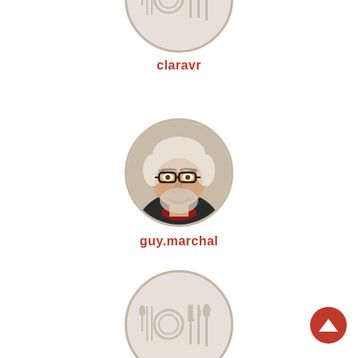[Figure (illustration): Circular avatar placeholder with kitchen/cooking icons (cutlery, plates) in light grey, username 'claravr' in red below]
claravr
[Figure (photo): Circular profile photo of an elderly man with glasses and white/grey hair, smiling, username 'guy.marchal' in red below]
guy.marchal
[Figure (illustration): Circular avatar placeholder with kitchen/cooking icons (cutlery, plates) in light grey, partially visible at bottom of page]
[Figure (illustration): Circular scroll-to-top button with upward arrow in red, bottom right corner]